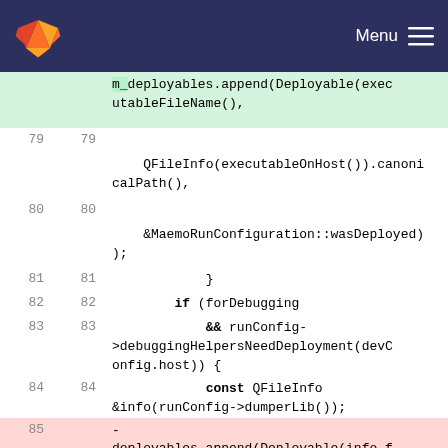GitLab Menu
Code diff view showing lines 79-85 of a C++ source file with changes to deployables.append calls
[Figure (screenshot): GitLab code diff showing C++ source lines 79-85 with a removed line (85-) and added line (85+) for m_deployables vs deployables variable rename]